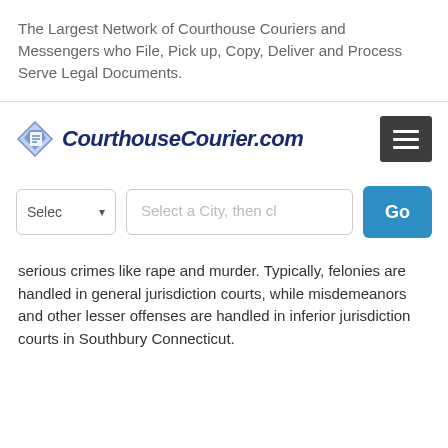The Largest Network of Courthouse Couriers and Messengers who File, Pick up, Copy, Deliver and Process Serve Legal Documents.
[Figure (logo): CourthouseCourier.com logo with blue diamond/document icon and bold italic dark navy text]
[Figure (screenshot): Navigation bar with hamburger menu icon (three horizontal lines) on dark gray background]
[Figure (screenshot): Search bar with state select dropdown, city text input placeholder 'Select a City, then cl', and blue Go button]
serious crimes like rape and murder. Typically, felonies are handled in general jurisdiction courts, while misdemeanors and other lesser offenses are handled in inferior jurisdiction courts in Southbury Connecticut.